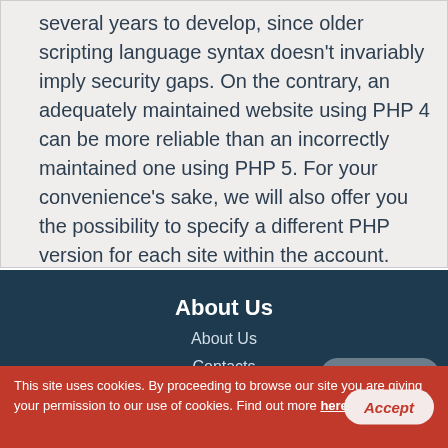several years to develop, since older scripting language syntax doesn't invariably imply security gaps. On the contrary, an adequately maintained website using PHP 4 can be more reliable than an incorrectly maintained one using PHP 5. For your convenience's sake, we will also offer you the possibility to specify a different PHP version for each site within the account.
About Us
About Us
Contacts
Why Us
Website Migration
Live Chat
This site uses cookies. By proceeding to browse our site you are giving your permission to our use of cookies. Find out more here.